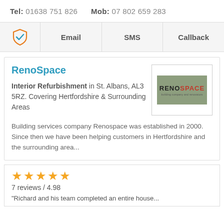Tel: 01638 751 826   Mob: 07802 659 283
| [icon] | Email | SMS | Callback |
| --- | --- | --- | --- |
RenoSpace
Interior Refurbishment in St. Albans, AL3 5RZ. Covering Hertfordshire & Surrounding Areas
[Figure (logo): RenoSpace logo on green/sage background with red accent text]
Building services company Renospace was established in 2000. Since then we have been helping customers in Hertfordshire and the surrounding area...
[Figure (infographic): 5 gold star rating]
7 reviews / 4.98
"Richard and his team completed an entire house...